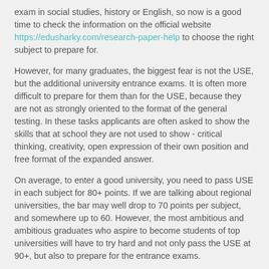exam in social studies, history or English, so now is a good time to check the information on the official website https://edusharky.com/research-paper-help to choose the right subject to prepare for.
However, for many graduates, the biggest fear is not the USE, but the additional university entrance exams. It is often more difficult to prepare for them than for the USE, because they are not as strongly oriented to the format of the general testing. In these tasks applicants are often asked to show the skills that at school they are not used to show - critical thinking, creativity, open expression of their own position and free format of the expanded answer.
On average, to enter a good university, you need to pass USE in each subject for 80+ points. If we are talking about regional universities, the bar may well drop to 70 points per subject, and somewhere up to 60. However, the most ambitious and ambitious graduates who aspire to become students of top universities will have to try hard and not only pass the USE at 90+, but also to prepare for the entrance exams.